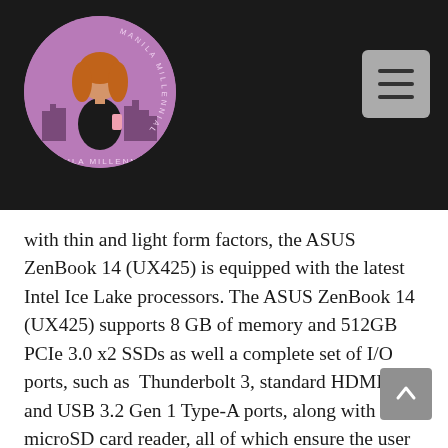[Figure (logo): Manila Millennial blog logo — circular illustration of a woman with long red/orange hair holding a phone, purple background with city skyline, text 'MANILA MILLENNIAL' around the border]
with thin and light form factors, the ASUS ZenBook 14 (UX425) is equipped with the latest Intel Ice Lake processors. The ASUS ZenBook 14 (UX425) supports 8 GB of memory and 512GB PCIe 3.0 x2 SSDs as well a complete set of I/O ports, such as Thunderbolt 3, standard HDMI 2.0 and USB 3.2 Gen 1 Type-A ports, along with a microSD card reader, all of which ensure the user comprehensive connectivity.
The ASUS ZenBook 14 (UX425) is also equipped with...